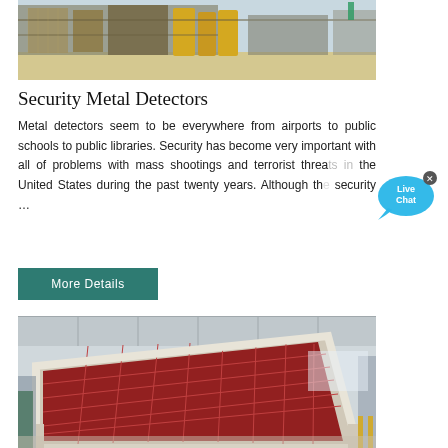[Figure (photo): Aerial or elevated view of large industrial yellow mining or processing machinery on a construction/industrial site with pipes and equipment]
Security Metal Detectors
Metal detectors seem to be everywhere from airports to public schools to public libraries. Security has become very important with all of problems with mass shootings and terrorist threats in the United States during the past twenty years. Although the security …
[Figure (illustration): Live Chat speech bubble icon in blue/cyan with 'Live Chat' text and an X close button]
More Details
[Figure (photo): Interior of a large industrial warehouse/factory showing a large red and white metal frame grid structure (possibly a vibrating screen or conveyor) on the factory floor with industrial equipment in background]